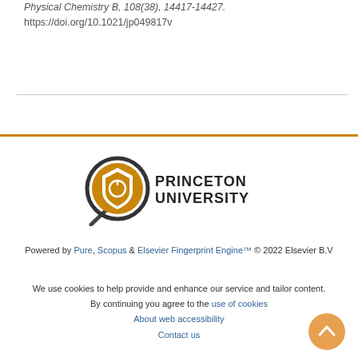Physical Chemistry B, 108(38), 14417-14427. https://doi.org/10.1021/jp049817v
[Figure (logo): Princeton University logo with magnifying glass icon containing a shield, next to bold text PRINCETON UNIVERSITY]
Powered by Pure, Scopus & Elsevier Fingerprint Engine™ © 2022 Elsevier B.V
We use cookies to help provide and enhance our service and tailor content. By continuing you agree to the use of cookies
About web accessibility
Contact us